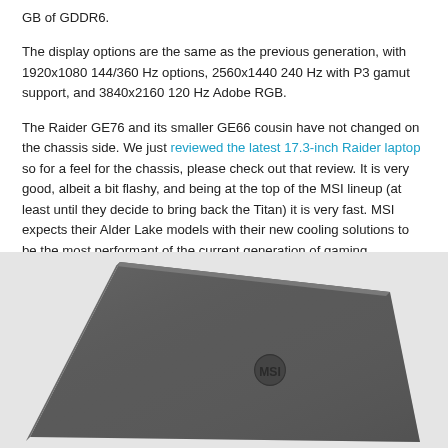GB of GDDR6.
The display options are the same as the previous generation, with 1920x1080 144/360 Hz options, 2560x1440 240 Hz with P3 gamut support, and 3840x2160 120 Hz Adobe RGB.
The Raider GE76 and its smaller GE66 cousin have not changed on the chassis side. We just reviewed the latest 17.3-inch Raider laptop so for a feel for the chassis, please check out that review. It is very good, albeit a bit flashy, and being at the top of the MSI lineup (at least until they decide to bring back the Titan) it is very fast. MSI expects their Alder Lake models with their new cooling solutions to be the most performant of the current generation of gaming notebooks on the market.
[Figure (photo): Photo of an MSI laptop showing the back/top side of the dark grey laptop lid with MSI logo, shot from an angle.]